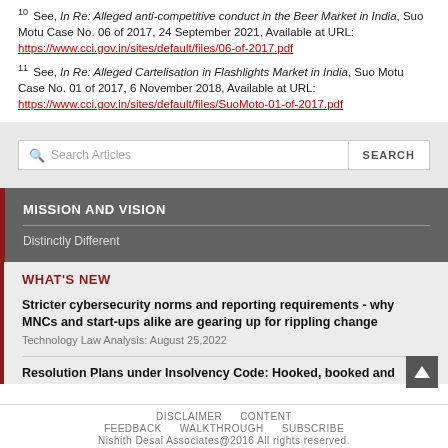10 See, In Re: Alleged anti-competitive conduct in the Beer Market in India, Suo Motu Case No. 06 of 2017, 24 September 2021, Available at URL: https://www.cci.gov.in/sites/default/files/06-of-2017.pdf
11 See, In Re: Alleged Cartelisation in Flashlights Market in India, Suo Motu Case No. 01 of 2017, 6 November 2018, Available at URL: https://www.cci.gov.in/sites/default/files/SuoMoto-01-of-2017.pdf
[Figure (screenshot): Search Articles input box with SEARCH button on grey background]
MISSION AND VISION
Distinctly Different
WHAT'S NEW
Stricter cybersecurity norms and reporting requirements - why MNCs and start-ups alike are gearing up for rippling change
Technology Law Analysis: August 25,2022
Resolution Plans under Insolvency Code: Hooked, booked and
DISCLAIMER   CONTENT   FEEDBACK   WALKTHROUGH   SUBSCRIBE   Nishith Desai Associates@2016 All rights reserved.